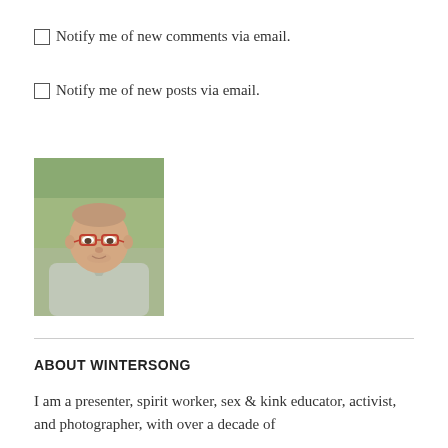Notify me of new comments via email.
Notify me of new posts via email.
[Figure (photo): Headshot photo of a man with short hair and red-framed glasses, wearing a light grey collared shirt, photographed outdoors with blurred trees in background.]
ABOUT WINTERSONG
I am a presenter, spirit worker, sex & kink educator, activist, and photographer, with over a decade of